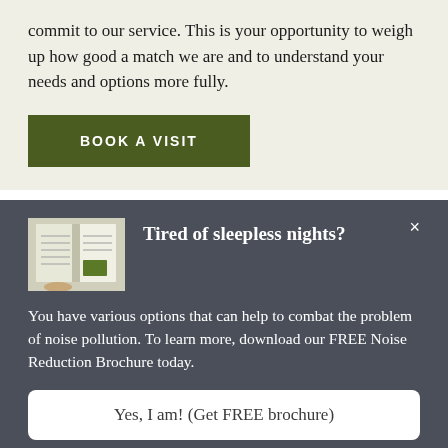commit to our service. This is your opportunity to weigh up how good a match we are and to understand your needs and options more fully.
[Figure (other): Green button labeled BOOK A VISIT in white uppercase letters]
[Figure (other): Popup overlay on dark gray background with brochure image, title 'Tired of sleepless nights?', body text about noise pollution, and a white call-to-action button]
Tired of sleepless nights?
You have various options that can help to combat the problem of noise pollution. To learn more, download our FREE Noise Reduction Brochure today.
Yes, I am! (Get FREE brochure)